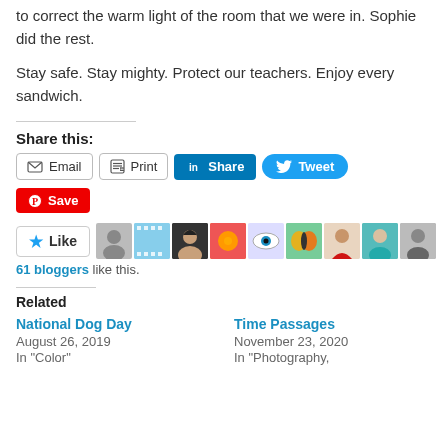to correct the warm light of the room that we were in. Sophie did the rest.
Stay safe. Stay mighty. Protect our teachers. Enjoy every sandwich.
Share this:
Email | Print | Share | Tweet | Save
[Figure (other): Like button and avatar strip showing 61 bloggers who liked this post]
61 bloggers like this.
Related
National Dog Day
August 26, 2019
In "Color"
Time Passages
November 23, 2020
In "Photography,